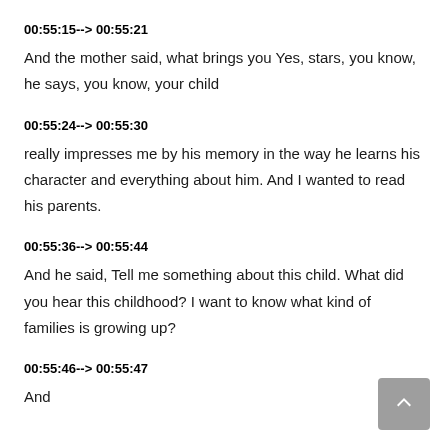00:55:15--> 00:55:21
And the mother said, what brings you Yes, stars, you know, he says, you know, your child
00:55:24--> 00:55:30
really impresses me by his memory in the way he learns his character and everything about him. And I wanted to read his parents.
00:55:36--> 00:55:44
And he said, Tell me something about this child. What did you hear this childhood? I want to know what kind of families is growing up?
00:55:46--> 00:55:47
And